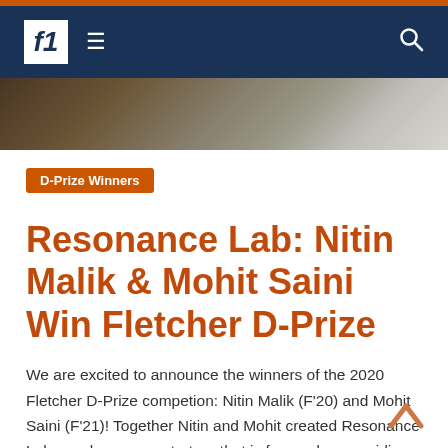Navigation bar with logo, hamburger menu, and search icon
[Figure (photo): Partial photo strip showing people in dark and light clothing at an event]
D-Prize Winners
Resonance Lab: Nitin Malik & Mohit Saini Win Fletcher D-Prize
We are excited to announce the winners of the 2020 Fletcher D-Prize competion: Nitin Malik (F'20) and Mohit Saini (F'21)! Together Nitin and Mohit created Resonance Lab, a solar energy start-up that is focused on providing clean, reliable, and affordable energy to rural communities in India.